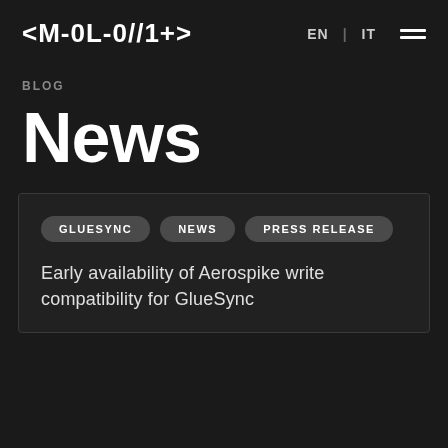<MOLO//17> EN | IT
BLOG
News
GLUESYNC
NEWS
PRESS RELEASE
Early availability of Aerospike write compatibility for GlueSync